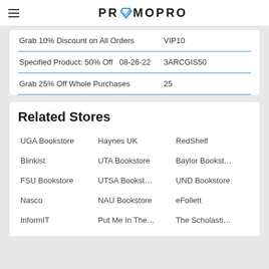PROMOPRO
| Grab 10% Discount on All Orders | VIP10 |
| Specified Product: 50% Off  08-26-22 | 3ARCGIS50 |
| Grab 25% Off Whole Purchases | 25 |
Related Stores
UGA Bookstore  Haynes UK  RedShelf  Blinkist  UTA Bookstore  Baylor Bookst…  FSU Bookstore  UTSA Bookst…  UND Bookstore  Nasco  NAU Bookstore  eFollett  InformIT  Put Me In The…  The Scholasti…